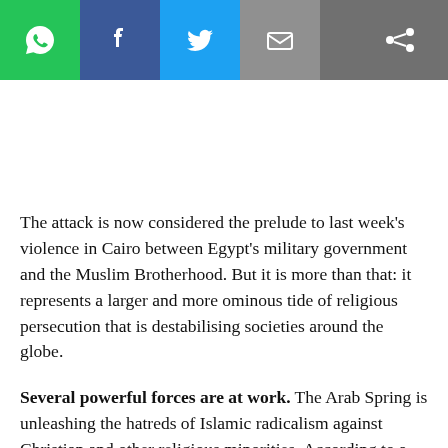[Figure (screenshot): Social media sharing toolbar with WhatsApp (green), Facebook (blue), Twitter (light blue), Email (grey), and a share icon on dark grey background]
The attack is now considered the prelude to last week’s violence in Cairo between Egypt’s military government and the Muslim Brotherhood. But it is more than that: it represents a larger and more ominous tide of religious persecution that is destabilising societies around the globe.
Several powerful forces are at work. The Arab Spring is unleashing the hatreds of Islamic radicalism against Christian and other religious minorities. According to a